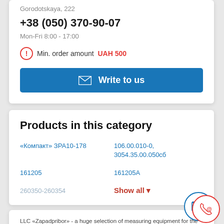Gorodotskaya, 222
+38 (050) 370-90-07
Mon-Fri 8:00 - 17:00
Min. order amount UAH 500
Write to us
Products in this category
«Компакт» ЗРА10-178
106.00.010-0, 3054.35.00.050сб
161205
161205A
260350-260354
Show all
LLC «Zapadpribor» - a huge selection of measuring equipment for the best value and quality. So you can buy inexpensive devices, we monitor competitors' prices and are